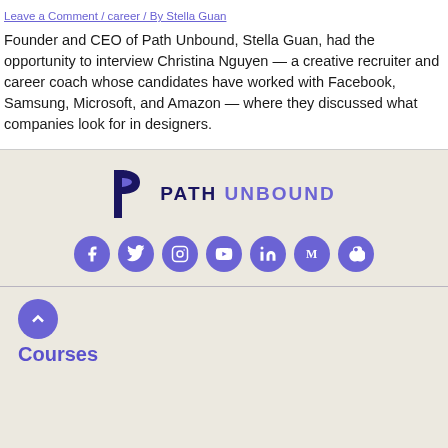Leave a Comment / career / By Stella Guan
Founder and CEO of Path Unbound, Stella Guan, had the opportunity to interview Christina Nguyen — a creative recruiter and career coach whose candidates have worked with Facebook, Samsung, Microsoft, and Amazon — where they discussed what companies look for in designers.
[Figure (logo): Path Unbound logo with stylized P icon and text PATH UNBOUND]
[Figure (infographic): Row of 7 purple circular social media icons: Facebook, Twitter, Instagram, YouTube, LinkedIn, Medium, Apple]
Courses